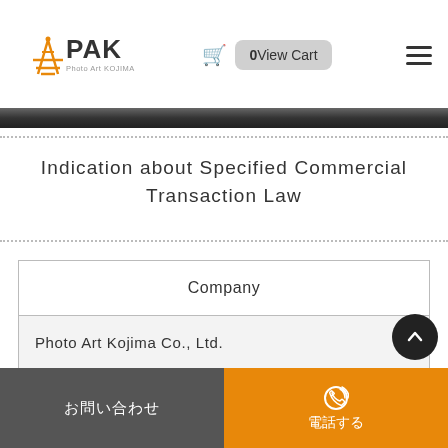PAK Photo Art KOJIMA — 0 View Cart
Indication about Specified Commercial Transaction Law
| Company |
| --- |
| Photo Art Kojima Co., Ltd. |
| Name of operation manager |
お問い合わせ　電話する